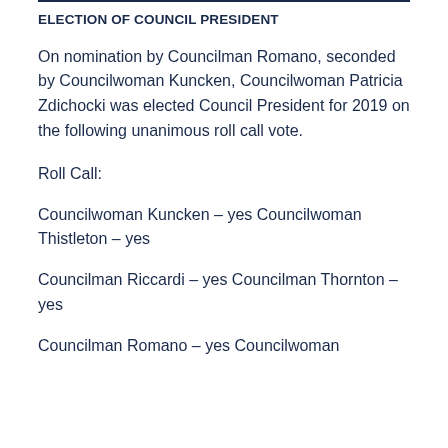ELECTION OF COUNCIL PRESIDENT
On nomination by Councilman Romano, seconded by Councilwoman Kuncken, Councilwoman Patricia Zdichocki was elected Council President for 2019 on the following unanimous roll call vote.
Roll Call:
Councilwoman Kuncken – yes Councilwoman Thistleton – yes
Councilman Riccardi – yes Councilman Thornton – yes
Councilman Romano – yes Councilwoman